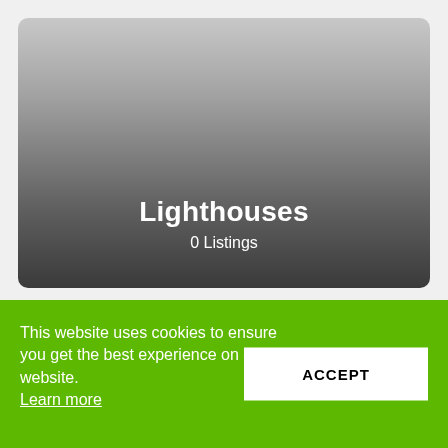[Figure (photo): A card with a dark gradient background (light gray at top to dark gray/black at bottom) showing the text 'Lighthouses' and '0 Listings' centered near the bottom.]
Lighthouses
0 Listings
[Figure (photo): A partially visible second card below the first, light gray background.]
This website uses cookies to ensure you get the best experience on our website. Learn more
ACCEPT